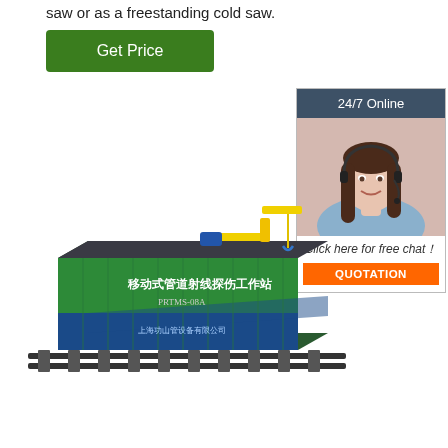saw or as a freestanding cold saw.
[Figure (other): Green 'Get Price' button]
[Figure (infographic): Sidebar widget showing '24/7 Online' header, photo of woman with headset, 'Click here for free chat!' text, and orange QUOTATION button]
[Figure (illustration): 3D rendering of a mobile pipeline X-ray inspection workstation (移动式管道射线探伤工作站) on rails, with Chinese text and company logo]